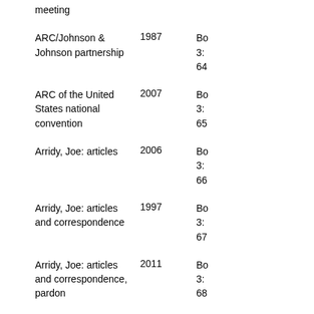| Item | Year | Box/Location |
| --- | --- | --- |
| meeting |  |  |
| ARC/Johnson & Johnson partnership | 1987 | Bo 3: 64 |
| ARC of the United States national convention | 2007 | Bo 3: 65 |
| Arridy, Joe: articles | 2006 | Bo 3: 66 |
| Arridy, Joe: articles and correspondence | 1997 | Bo 3: 67 |
| Arridy, Joe: articles and correspondence, pardon | 2011 | Bo 3: 68 |
| Arridy, Joe: articles and correspondence, pardon | 2011 | Bo 3: 69 |
| Article: 16 Executed in | 2000 | Bo |